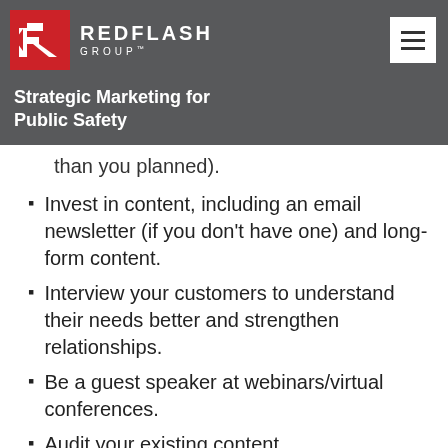[Figure (logo): RedFlash Group logo with red square icon and white R text mark, company name in white on grey background]
Strategic Marketing for Public Safety
than you planned).
Invest in content, including an email newsletter (if you don't have one) and long-form content.
Interview your customers to understand their needs better and strengthen relationships.
Be a guest speaker at webinars/virtual conferences.
Audit your existing content